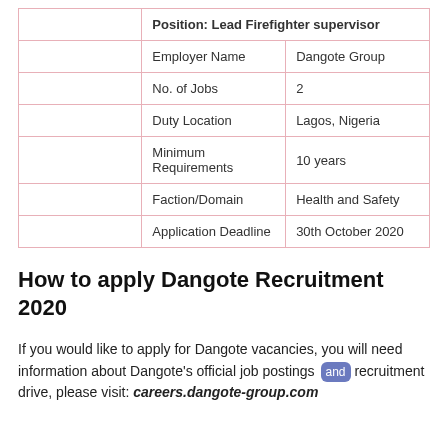|  | Position: Lead Firefighter supervisor |  |
|  | Employer Name | Dangote Group |
|  | No. of Jobs | 2 |
|  | Duty Location | Lagos, Nigeria |
|  | Minimum Requirements | 10 years |
|  | Faction/Domain | Health and Safety |
|  | Application Deadline | 30th October 2020 |
How to apply Dangote Recruitment 2020
If you would like to apply for Dangote vacancies, you will need information about Dangote's official job postings and recruitment drive, please visit: careers.dangote-group.com